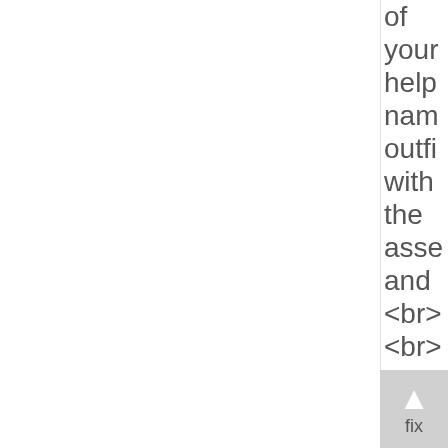of your help nam outfi with the asse and <br> <br> devi he mus exec fix